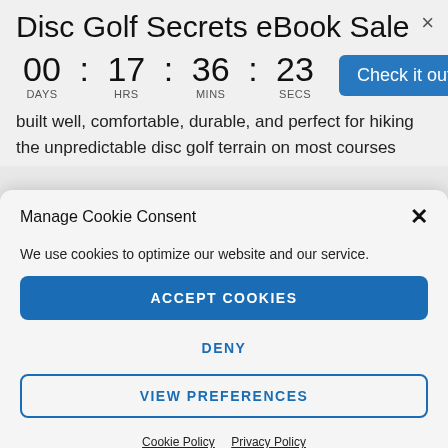Disc Golf Secrets eBook Sale
00 : 17 : 36 : 23  DAYS  HRS  MINS  SECS  Check it out
built well, comfortable, durable, and perfect for hiking the unpredictable disc golf terrain on most courses
Manage Cookie Consent
We use cookies to optimize our website and our service.
ACCEPT COOKIES
DENY
VIEW PREFERENCES
Cookie Policy  Privacy Policy